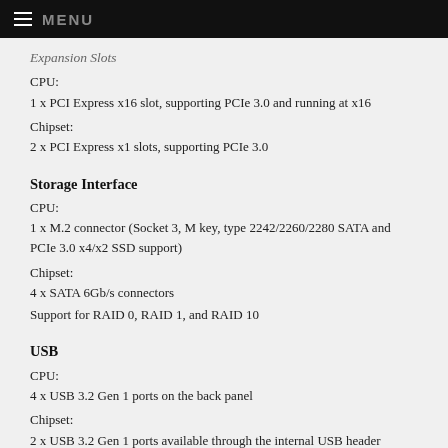≡ MENU
Expansion Slots
CPU:
1 x PCI Express x16 slot, supporting PCIe 3.0 and running at x16
Chipset:
2 x PCI Express x1 slots, supporting PCIe 3.0
Storage Interface
CPU:
1 x M.2 connector (Socket 3, M key, type 2242/2260/2280 SATA and PCIe 3.0 x4/x2 SSD support)
Chipset:
4 x SATA 6Gb/s connectors
Support for RAID 0, RAID 1, and RAID 10
USB
CPU:
4 x USB 3.2 Gen 1 ports on the back panel
Chipset:
2 x USB 3.2 Gen 1 ports available through the internal USB header